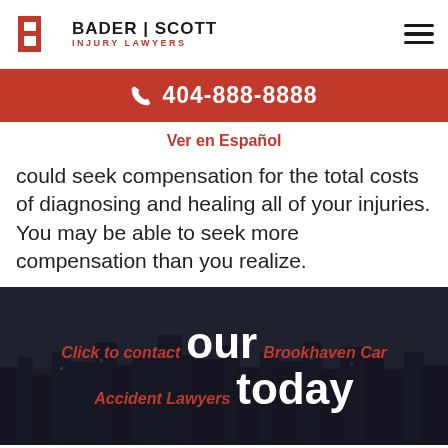BADER | SCOTT INJURY LAWYERS
404-888-8888
Ver en Español
could seek compensation for the total costs of diagnosing and healing all of your injuries. You may be able to seek more compensation than you realize.
[Figure (photo): Dark cityscape skyline at dusk with overlaid CTA text: 'Click to contact our Brookhaven Car Accident Lawyers today']